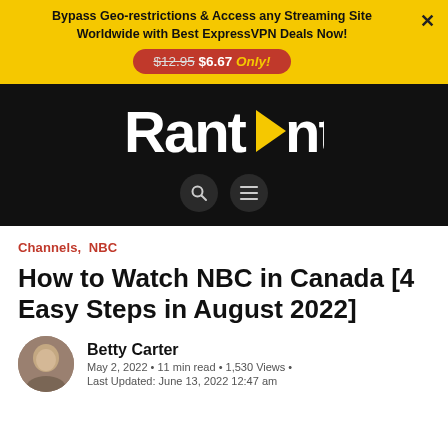Bypass Geo-restrictions & Access any Streaming Site Worldwide with Best ExpressVPN Deals Now! $12.95 $6.67 Only!
[Figure (logo): RantEnt website logo in white on black background with yellow play button triangle replacing the E in Ent]
Channels, NBC
How to Watch NBC in Canada [4 Easy Steps in August 2022]
Betty Carter
May 2, 2022 • 11 min read • 1,530 Views •
Last Updated: June 13, 2022 12:47 am